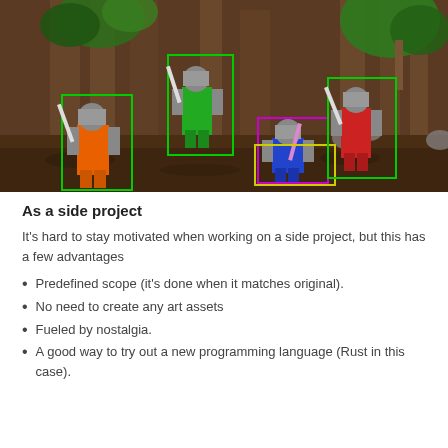[Figure (screenshot): A retro video game screenshot showing armored knight characters with colored robes (orange, green, blue, red) holding swords, set in a dark stone dungeon/forest environment. Green bounding boxes are drawn around the orange and green characters, a purple box around the blue character, and a yellow box around what appears to be a fallen character. Red and green boxes also around the red character.]
As a side project
It's hard to stay motivated when working on a side project, but this has a few advantages
Predefined scope (it's done when it matches original).
No need to create any art assets
Fueled by nostalgia.
A good way to try out a new programming language (Rust in this case).